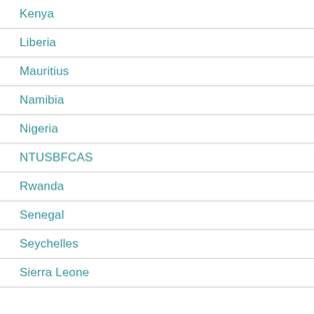Kenya
Liberia
Mauritius
Namibia
Nigeria
NTUSBFCAS
Rwanda
Senegal
Seychelles
Sierra Leone